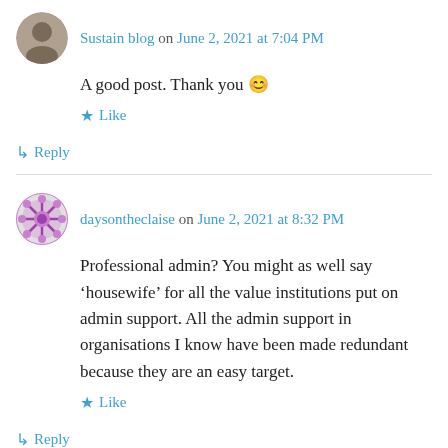Sustain blog on June 2, 2021 at 7:04 PM
A good post. Thank you 😊
★ Like
↳ Reply
daysontheclaise on June 2, 2021 at 8:32 PM
Professional admin? You might as well say 'housewife' for all the value institutions put on admin support. All the admin support in organisations I know have been made redundant because they are an easy target.
★ Like
↳ Reply